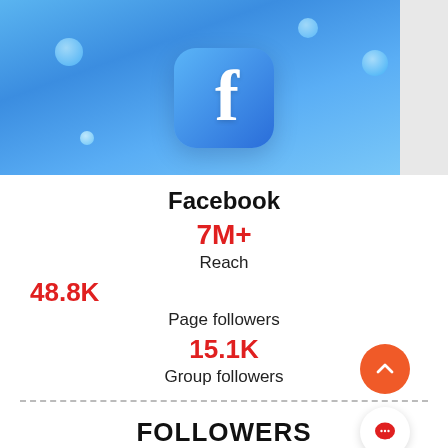[Figure (illustration): Facebook logo icon on blue gradient background with decorative bubbles]
Facebook
7M+
Reach
48.8K
Page followers
15.1K
Group followers
FOLLOWERS
10%